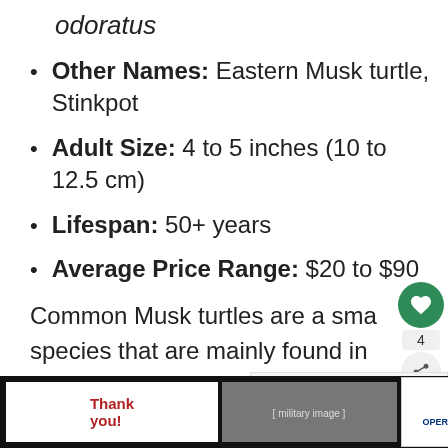odoratus
Other Names: Eastern Musk turtle, Stinkpot
Adult Size: 4 to 5 inches (10 to 12.5 cm)
Lifespan: 50+ years
Average Price Range: $20 to $90
Common Musk turtles are a small species that are mainly found in southern